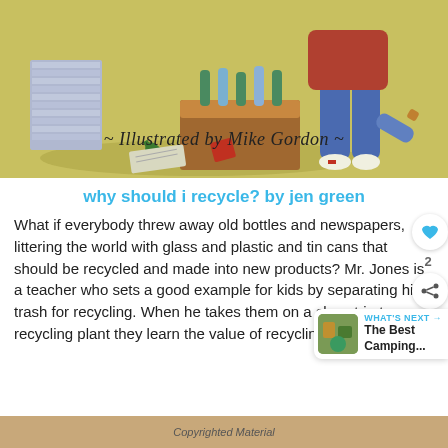[Figure (illustration): Children's book illustration showing a person sorting recycling — stacked newspapers, bottles in a box, bottles on ground. Text overlay reads '~ Illustrated by Mike Gordon ~']
why should i recycle? by jen green
What if everybody threw away old bottles and newspapers, littering the world with glass and plastic and tin cans that should be recycled and made into new products? Mr. Jones is a teacher who sets a good example for kids by separating his trash for recycling. When he takes them on a class trip to a recycling plant they learn the value of recycling.
Copyrighted Material